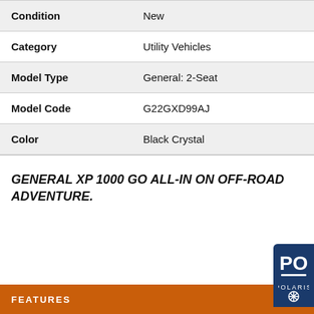| Condition | New |
| Category | Utility Vehicles |
| Model Type | General: 2-Seat |
| Model Code | G22GXD99AJ |
| Color | Black Crystal |
GENERAL XP 1000 GO ALL-IN ON OFF-ROAD ADVENTURE.
FEATURES